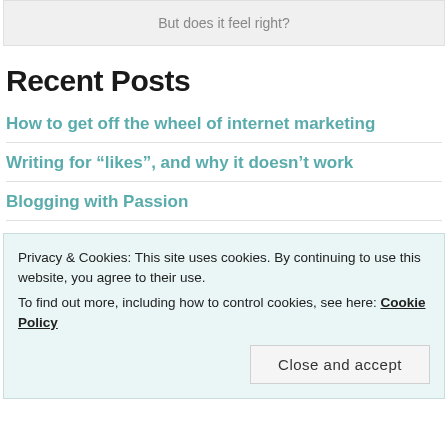But does it feel right?
Recent Posts
How to get off the wheel of internet marketing
Writing for “likes”, and why it doesn’t work
Blogging with Passion
Privacy & Cookies: This site uses cookies. By continuing to use this website, you agree to their use. To find out more, including how to control cookies, see here: Cookie Policy
Close and accept